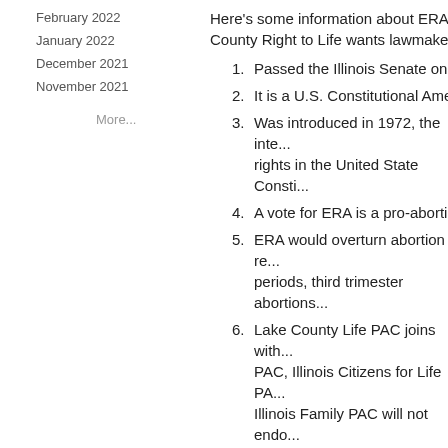February 2022
January 2022
December 2021
November 2021
More...
Here's some information about ERA or E... County Right to Life wants lawmakers ar...
Passed the Illinois Senate on Ap...
It is a U.S. Constitutional Amend...
Was introduced in 1972, the inte... rights in the United State Consti...
A vote for ERA is a pro-abortion...
ERA would overturn abortion re... periods, third trimester abortions...
Lake County Life PAC joins with... PAC, Illinois Citizens for Life PA... Illinois Family PAC will not endo... for the ERA.
ERA could overturn the Hyde Am... prohibits Federal taxpayer fundi... and incest).
ERA would end conscience prot... hospitals who do not want to pa...
ERA would threaten tax exempt... are morally opposed to abortion...